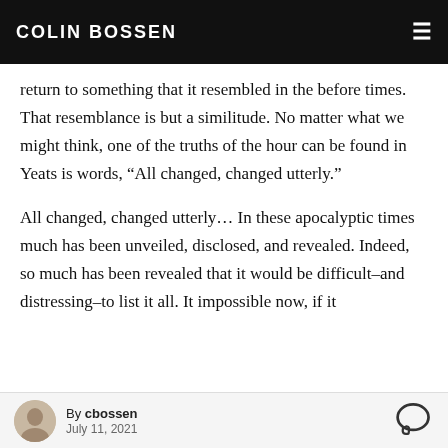COLIN BOSSEN
return to something that it resembled in the before times. That resemblance is but a similitude. No matter what we might think, one of the truths of the hour can be found in Yeats is words, “All changed, changed utterly.”
All changed, changed utterly… In these apocalyptic times much has been unveiled, disclosed, and revealed. Indeed, so much has been revealed that it would be difficult–and distressing–to list it all. It impossible now, if it
By cbossen
July 11, 2021